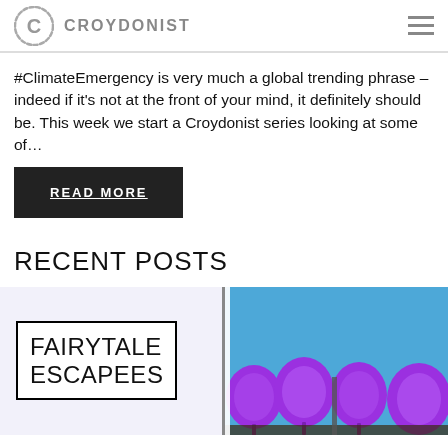CROYDONIST
#ClimateEmergency is very much a global trending phrase – indeed if it's not at the front of your mind, it definitely should be. This week we start a Croydonist series looking at some of…
READ MORE
RECENT POSTS
[Figure (photo): Photo showing purple balloon-like sculptures against a blue sky, with a white overlay box on the left containing the title 'FAIRYTALE ESCAPEES'.]
FAIRYTALE ESCAPEES